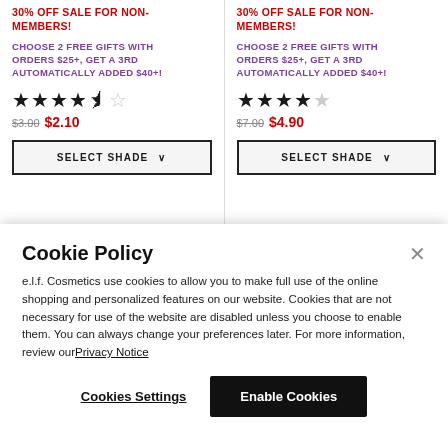30% OFF SALE FOR NON-MEMBERS!
CHOOSE 2 FREE GIFTS WITH ORDERS $25+, GET A 3RD AUTOMATICALLY ADDED $40+!
★★★★½  $3.00  $2.10
SELECT SHADE
30% OFF SALE FOR NON-MEMBERS!
CHOOSE 2 FREE GIFTS WITH ORDERS $25+, GET A 3RD AUTOMATICALLY ADDED $40+!
★★★★  $7.00  $4.90
SELECT SHADE
Cookie Policy
e.l.f. Cosmetics use cookies to allow you to make full use of the online shopping and personalized features on our website. Cookies that are not necessary for use of the website are disabled unless you choose to enable them. You can always change your preferences later. For more information, review our Privacy Notice
Cookies Settings
Enable Cookies